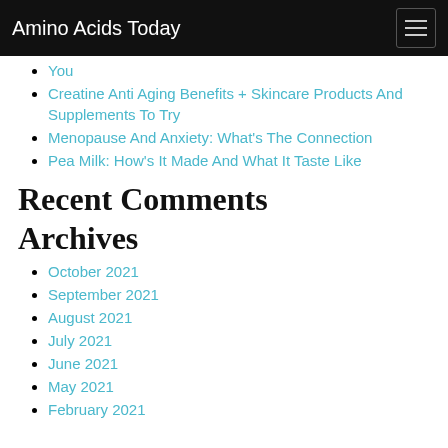Amino Acids Today
You
Creatine Anti Aging Benefits + Skincare Products And Supplements To Try
Menopause And Anxiety: What's The Connection
Pea Milk: How's It Made And What It Taste Like
Recent Comments
Archives
October 2021
September 2021
August 2021
July 2021
June 2021
May 2021
February 2021